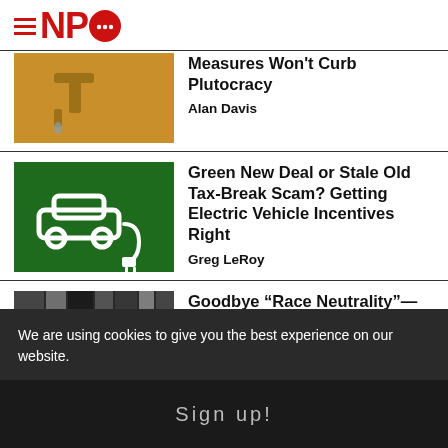NPQ
Measures Won't Curb Plutocracy
Alan Davis
Green New Deal or Stale Old Tax-Break Scam? Getting Electric Vehicle Incentives Right
Greg LeRoy
Goodbye “Race Neutrality”—The
We are using cookies to give you the best experience on our website.
Sign up!